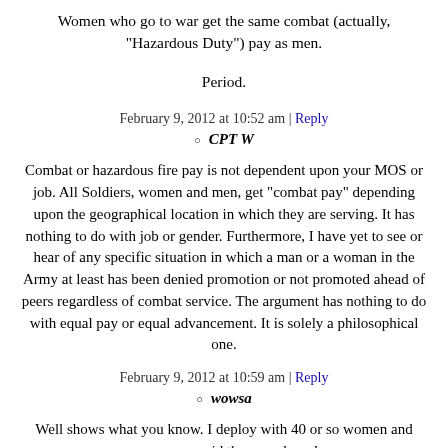Women who go to war get the same combat (actually, "Hazardous Duty") pay as men.
Period.
February 9, 2012 at 10:52 am | Reply
CPT W
Combat or hazardous fire pay is not dependent upon your MOS or job. All Soldiers, women and men, get "combat pay" depending upon the geographical location in which they are serving. It has nothing to do with job or gender. Furthermore, I have yet to see or hear of any specific situation in which a man or a woman in the Army at least has been denied promotion or not promoted ahead of peers regardless of combat service. The argument has nothing to do with equal pay or equal advancement. It is solely a philosophical one.
February 9, 2012 at 10:59 am | Reply
wowsa
Well shows what you know. I deploy with 40 or so women and everyone was paid the same based on